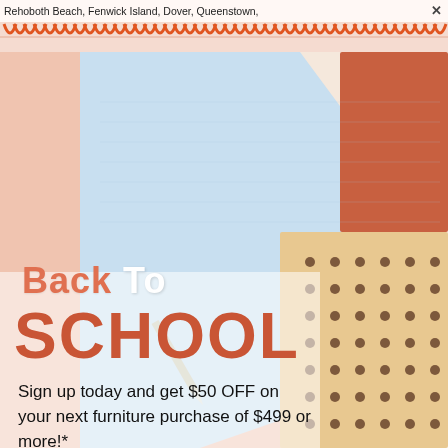Rehoboth Beach, Fenwick Island, Dover, Queenstown,
[Figure (illustration): Back to school promotional image with colorful overlapping notebook/book covers in light blue, peach/pink, terracotta, and tan with polka dots, arranged in a fan-like composition, with a spiral coil visual at the top resembling a notebook binding.]
Back To SCHOOL
Sign up today and get $50 OFF on your next furniture purchase of $499 or more!*